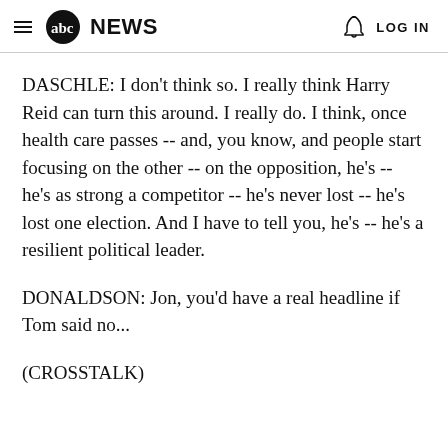abc NEWS  LOG IN
DASCHLE: I don't think so. I really think Harry Reid can turn this around. I really do. I think, once health care passes -- and, you know, and people start focusing on the other -- on the opposition, he's -- he's as strong a competitor -- he's never lost -- he's lost one election. And I have to tell you, he's -- he's a resilient political leader.
DONALDSON: Jon, you'd have a real headline if Tom said no...
(CROSSTALK)